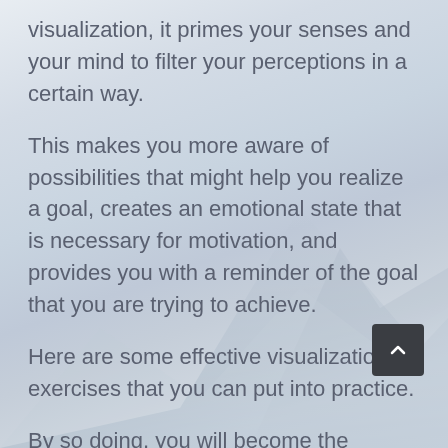visualization, it primes your senses and your mind to filter your perceptions in a certain way.
This makes you more aware of possibilities that might help you realize a goal, creates an emotional state that is necessary for motivation, and provides you with a reminder of the goal that you are trying to achieve.
Here are some effective visualization exercises that you can put into practice.
By so doing, you will become the person you desire be, be able to give more to